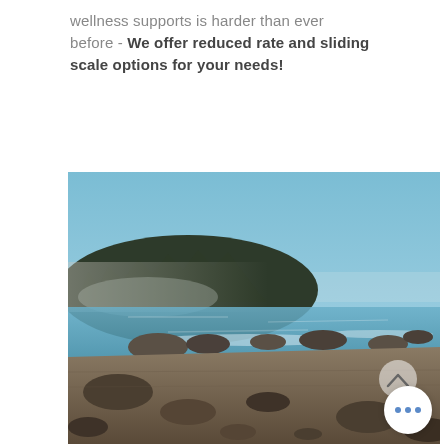wellness supports is harder than ever before - We offer reduced rate and sliding scale options for your needs!
[Figure (photo): Coastal beach scene with rocky shore in foreground, ocean water in the middle ground, a forested headland with mist on the left, and a clear blue sky above.]